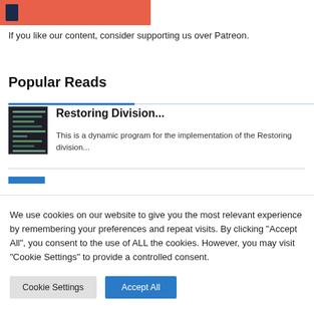[Figure (illustration): Partial salmon/orange colored banner image with dark icon at top left]
If you like our content, consider supporting us over Patreon.
Popular Reads
[Figure (photo): Thumbnail image showing dark code/terminal screenshot]
Restoring Division...
This is a dynamic program for the implementation of the Restoring division...
We use cookies on our website to give you the most relevant experience by remembering your preferences and repeat visits. By clicking "Accept All", you consent to the use of ALL the cookies. However, you may visit "Cookie Settings" to provide a controlled consent.